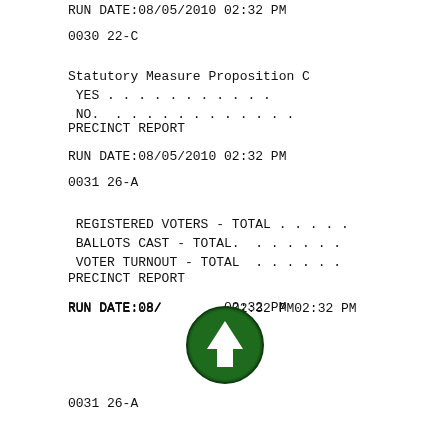RUN DATE:08/05/2010 02:32 PM
0030 22-C
Statutory Measure Proposition C
 YES . . . . . . . . . . .
 NO.  . . . . . . . . . . . .
PRECINCT REPORT
RUN DATE:08/05/2010 02:32 PM
0031 26-A
REGISTERED VOTERS - TOTAL . . . . .
 BALLOTS CAST - TOTAL.  . . . . . .
 VOTER TURNOUT - TOTAL  . . . . . .
PRECINCT REPORT
RUN DATE:08/  02:32 PM
0031 26-A
[Figure (illustration): Green circular navigation button with white upward-pointing arrow]